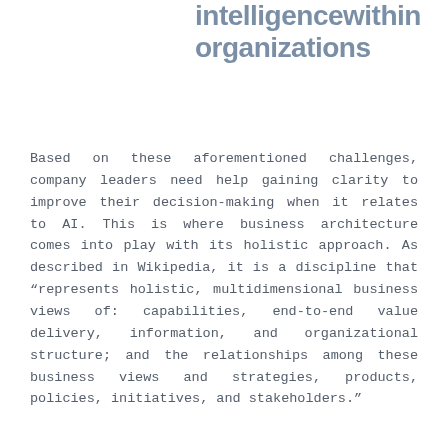intelligence within organizations
Based on these aforementioned challenges, company leaders need help gaining clarity to improve their decision-making when it relates to AI. This is where business architecture comes into play with its holistic approach. As described in Wikipedia, it is a discipline that “represents holistic, multidimensional business views of: capabilities, end-to-end value delivery, information, and organizational structure; and the relationships among these business views and strategies, products, policies, initiatives, and stakeholders."